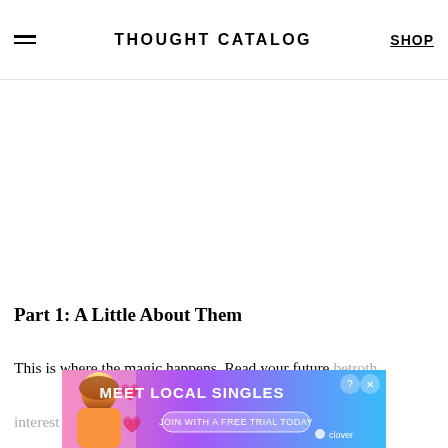THOUGHT CATALOG | SHOP
Part 1: A Little About Them
This is where the magic happens. Read your future betrothed's answers and see if there's anything funny or interesting… is too
[Figure (other): Advertisement overlay: Meet Local Singles – Join with a free trial today – Clover dating app ad with woman photo and pink/purple/blue gradient background]